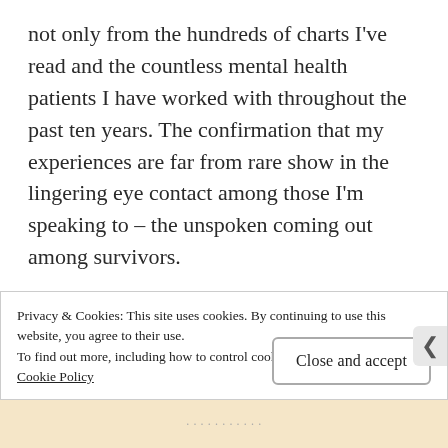not only from the hundreds of charts I've read and the countless mental health patients I have worked with throughout the past ten years. The confirmation that my experiences are far from rare show in the lingering eye contact among those I'm speaking to – the unspoken coming out among survivors.
I've been contacted by college professors, stay at home moms, a neurophysicist, administrative professionals, those living in houses surrounded by a white picket fence and
Privacy & Cookies: This site uses cookies. By continuing to use this website, you agree to their use.
To find out more, including how to control cookies, see here:
Cookie Policy
Close and accept